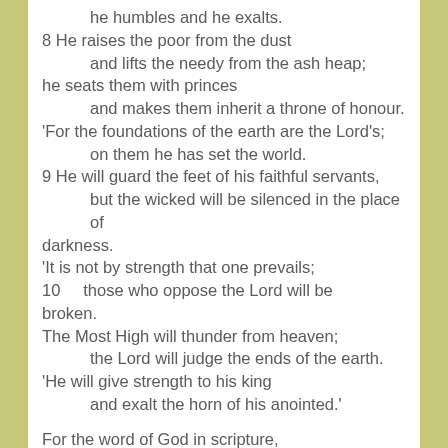he humbles and he exalts.
8 He raises the poor from the dust
    and lifts the needy from the ash heap;
he seats them with princes
    and makes them inherit a throne of honour.
'For the foundations of the earth are the Lord's;
    on them he has set the world.
9 He will guard the feet of his faithful servants,
    but the wicked will be silenced in the place of darkness.
'It is not by strength that one prevails;
10    those who oppose the Lord will be broken.
The Most High will thunder from heaven;
    the Lord will judge the ends of the earth.
'He will give strength to his king
    and exalt the horn of his anointed.'

For the word of God in scripture,
For the word of God among us,
For the word of God within us,